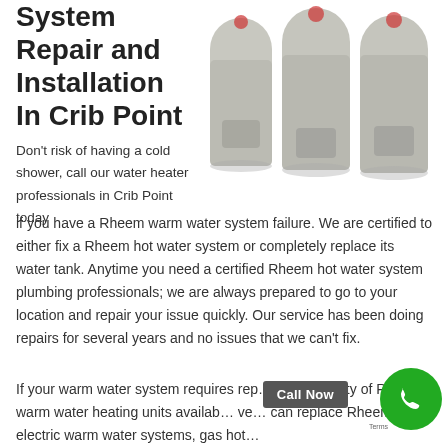System Repair and Installation In Crib Point
[Figure (photo): Three grey cylindrical Rheem hot water heater tanks side by side]
Don't risk of having a cold shower, call our water heater professionals in Crib Point today if you have a Rheem warm water system failure. We are certified to either fix a Rheem hot water system or completely replace its water tank. Anytime you need a certified Rheem hot water system plumbing professionals; we are always prepared to go to your location and repair your issue quickly. Our service has been doing repairs for several years and no issues that we can't fix.
If your warm water system requires rep... w... a variety of Rheem warm water heating units availab... ve... can replace Rheem electric warm water systems, gas hot...